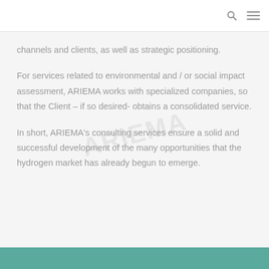channels and clients, as well as strategic positioning.
For services related to environmental and / or social impact assessment, ARIEMA works with specialized companies, so that the Client – if so desired- obtains a consolidated service.
In short, ARIEMA's consulting services ensure a solid and successful development of the many opportunities that the hydrogen market has already begun to emerge.